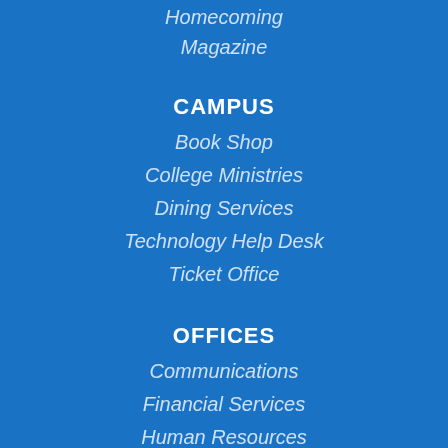Homecoming
Magazine
CAMPUS
Book Shop
College Ministries
Dining Services
Technology Help Desk
Ticket Office
OFFICES
Communications
Financial Services
Human Resources
President
Registrar's Office